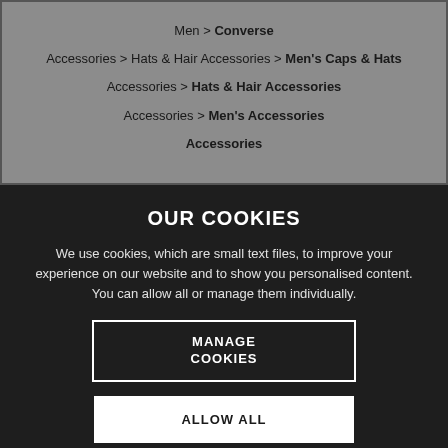Men > Converse
Accessories > Hats & Hair Accessories > Men's Caps & Hats
Accessories > Hats & Hair Accessories
Accessories > Men's Accessories
Accessories
OUR COOKIES
We use cookies, which are small text files, to improve your experience on our website and to show you personalised content. You can allow all or manage them individually.
MANAGE COOKIES
ALLOW ALL